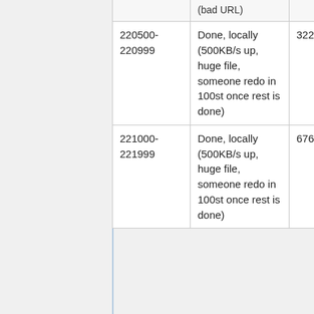| 220500-220999 | Done, locally (500KB/s up, huge file, someone redo in 100st once rest is done) | 322 | 54G |
| 221000-221999 | Done, locally (500KB/s up, huge file, someone redo in 100st once rest is done) | 676 | 80G |